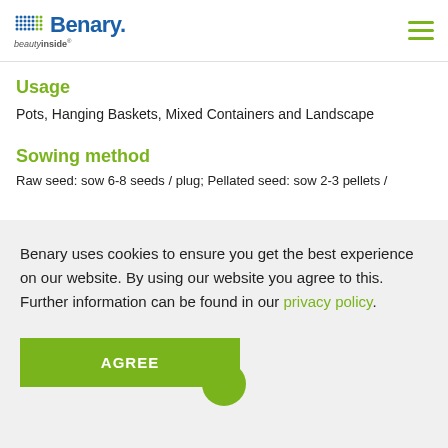Benary beautyinside
Usage
Pots, Hanging Baskets, Mixed Containers and Landscape
Sowing method
Raw seed: sow 6-8 seeds / plug; Pellated seed: sow 2-3 pellets /
Benary uses cookies to ensure you get the best experience on our website. By using our website you agree to this. Further information can be found in our privacy policy.
AGREE